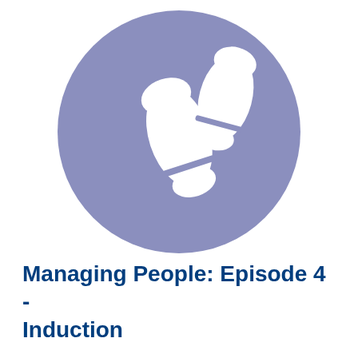[Figure (illustration): A purple/lavender circle containing two white shoe footprint icons, representing steps or induction process.]
Managing People: Episode 4 - Induction